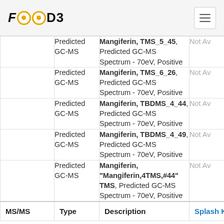FOODB
|  | Type | Description | Splash Key |
| --- | --- | --- | --- |
|  | Predicted GC-MS | Mangiferin, TMS_5_45, Predicted GC-MS Spectrum - 70eV, Positive | Not Av |
|  | Predicted GC-MS | Mangiferin, TMS_6_26, Predicted GC-MS Spectrum - 70eV, Positive | Not Av |
|  | Predicted GC-MS | Mangiferin, TBDMS_4_44, Predicted GC-MS Spectrum - 70eV, Positive | Not Av |
|  | Predicted GC-MS | Mangiferin, TBDMS_4_49, Predicted GC-MS Spectrum - 70eV, Positive | Not Av |
|  | Predicted GC-MS | Mangiferin, "Mangiferin,4TMS,#44" TMS, Predicted GC-MS Spectrum - 70eV, Positive | Not Av |
| MS/MS | Type | Description | Splash Key |